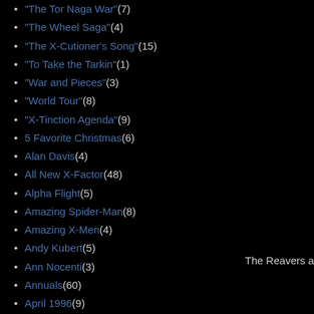"The Tor Naga War" (7)
"The Wheel Saga" (4)
"The X-Cutioner's Song" (15)
"To Take the Tarkin" (1)
"War and Pieces" (3)
"World Tour" (8)
"X-Tinction Agenda" (9)
5 Favorite Christmas (6)
Alan Davis (4)
All New X-Factor (48)
Alpha Flight (5)
Amazing Spider-Man (8)
Amazing X-Men (4)
Andy Kubert (5)
Ann Nocenti (3)
Annuals (60)
April 1996 (9)
Archie Goodwin (2)
Art Adams (4)
Ashford/Lashley (2)
Astonishing X-Men (4)
August 1995 (10)
Avengers (40)
The Reavers a